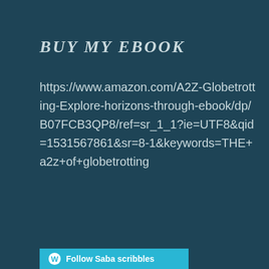BUY MY EBOOK
https://www.amazon.com/A2Z-Globetrotting-Explore-horizons-through-ebook/dp/B07FCB3QP8/ref=sr_1_1?ie=UTF8&qid=1531567861&sr=8-1&keywords=THE+a2z+of+globetrotting
Follow Saba scribbles